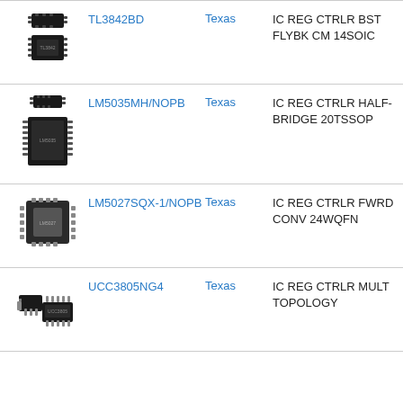[Figure (illustration): IC chip SOIC package photo for TL3842BD]
TL3842BD
Texas
IC REG CTRLR BST FLYBK CM 14SOIC
[Figure (illustration): IC chip TSSOP package photo for LM5035MH/NOPB]
LM5035MH/NOPB
Texas
IC REG CTRLR HALF-BRIDGE 20TSSOP
[Figure (illustration): IC chip WQFN package photo for LM5027SQX-1/NOPB]
LM5027SQX-1/NOPB
Texas
IC REG CTRLR FWRD CONV 24WQFN
[Figure (illustration): IC chip DIP package photo for UCC3805NG4]
UCC3805NG4
Texas
IC REG CTRLR MULT TOPOLOGY